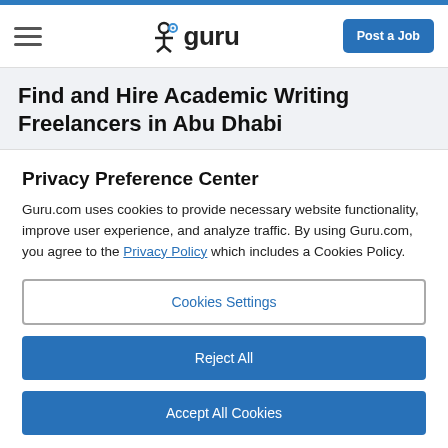guru — Post a Job
Find and Hire Academic Writing Freelancers in Abu Dhabi
Privacy Preference Center
Guru.com uses cookies to provide necessary website functionality, improve user experience, and analyze traffic. By using Guru.com, you agree to the Privacy Policy which includes a Cookies Policy.
Cookies Settings
Reject All
Accept All Cookies